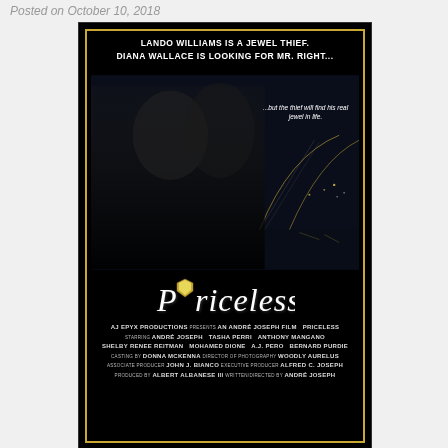Posted on October 10, 2018
[Figure (photo): Movie poster for 'Priceless' — black background with gold border. Top text: 'LANDO WILLIAMS IS A JEWEL THIEF. DIANA WALLACE IS LOOKING FOR MR. RIGHT...' Center photo of a couple (woman and man) with a city bridge at night in background and text '...but the thief will find his real jewel in life.' Below the photo is the cursive title 'Priceless' with a diamond icon. Credits at bottom list: AJ EPYX PRODUCTIONS presents AN ANDRÉ JOSEPH FILM PRICELESS starring ANDRÉ JOSEPH TASHA PERRI ANTHONY MANGANO SHELBY RENEE REITMAN MOHAMED DIONE A.J. PERO BERNARD PURDIE casting by DONNA McKENNA director of photography WOODLY AURELUS associate producer JOHN J. BIANCO executive producer ALFRED C. JOSEPH produced by ALBERT ALBANESE III written/directed by ANDRÉ JOSEPH]